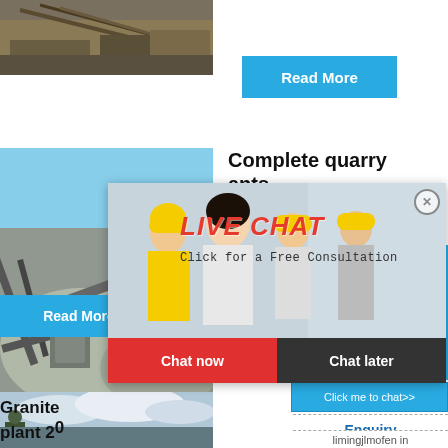[Figure (photo): Mining/quarry equipment photo, top left]
Read More
[Figure (photo): Quarry crusher/stone processing plant photo, middle left]
Complete quarry ants.
hour online
Read More
[Figure (photo): Industrial crusher machine photo, right panel]
Click me to chat>>
Enquiry
[Figure (photo): Outdoor landscape/clouds photo, bottom left]
Granite plant 20
limingjlmofen in
[Figure (photo): Live Chat overlay with workers in hard hats]
LIVE CHAT
Click for a Free Consultation
Chat now
Chat later